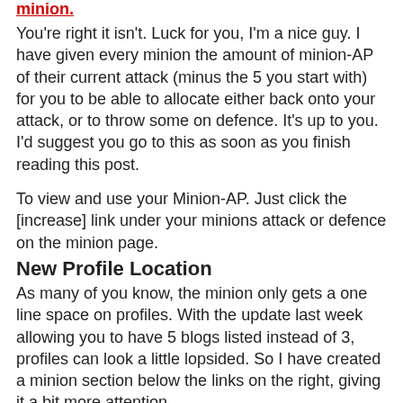minion.
You're right it isn't. Luck for you, I'm a nice guy. I have given every minion the amount of minion-AP of their current attack (minus the 5 you start with) for you to be able to allocate either back onto your attack, or to throw some on defence. It's up to you. I'd suggest you go to this as soon as you finish reading this post.
To view and use your Minion-AP. Just click the [increase] link under your minions attack or defence on the minion page.
New Profile Location
As many of you know, the minion only gets a one line space on profiles. With the update last week allowing you to have 5 blogs listed instead of 3, profiles can look a little lopsided. So I have created a minion section below the links on the right, giving it a bit more attention.
General Potion Store
I have given facelift to the general potion store at the Dead City. I have also reduced the cost of the turns heal option